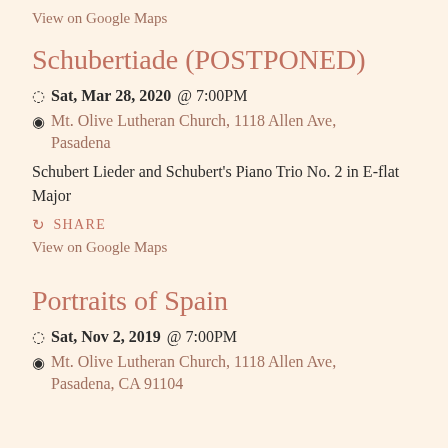View on Google Maps
Schubertiade (POSTPONED)
Sat, Mar 28, 2020 @ 7:00PM
Mt. Olive Lutheran Church, 1118 Allen Ave, Pasadena
Schubert Lieder and Schubert's Piano Trio No. 2 in E-flat Major
SHARE
View on Google Maps
Portraits of Spain
Sat, Nov 2, 2019 @ 7:00PM
Mt. Olive Lutheran Church, 1118 Allen Ave, Pasadena, CA 91104